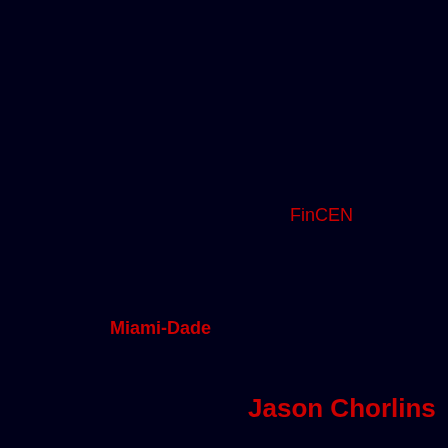FinCEN
Miami-Dade
Jason Chorlins